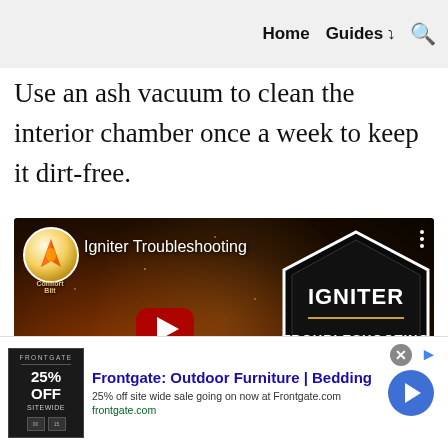Home  Guides  🔍
Use an ash vacuum to clean the interior chamber once a week to keep it dirt-free.
[Figure (screenshot): YouTube video thumbnail for 'Igniter Troubleshooting' by ComfortBilt. Shows a fire background with a red play button, a hexagonal badge reading 'IGNITER TROUBLESHOOTING', and a red bottom bar reading 'A Pellet Tech Talk Guide'.]
[Figure (screenshot): Advertisement banner for Frontgate: Outdoor Furniture | Bedding. Shows '25% OFF SITEWIDE' ad image, title 'Frontgate: Outdoor Furniture | Bedding', description '25% off site wide sale going on now at Frontgate.com', URL 'frontgate.com', with a blue arrow button and close/info icons.]